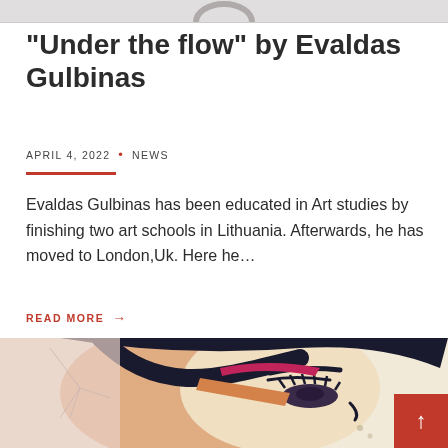[Figure (photo): Top cropped image showing a partial view of an artwork or object on white background]
“Under the flow” by Evaldas Gulbinas
APRIL 4, 2022 • NEWS
Evaldas Gulbinas has been educated in Art studies by finishing two art schools in Lithuania. Afterwards, he has moved to London,Uk. Here he…
READ MORE →
[Figure (illustration): Colorful illustration of a stylized face with bold black outlines, orange and cream tones, with a red badge in the bottom right corner showing an upward arrow]